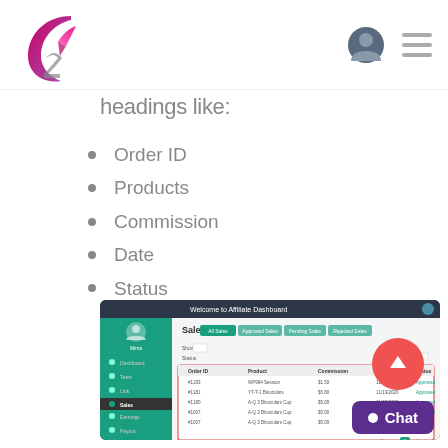Navigation bar with logo, user icon, and menu icon
headings like:
Order ID
Products
Commission
Date
Status
[Figure (screenshot): Screenshot of an affiliate dashboard Sales page showing a table with columns: Order ID, Product, Commission, Date, Status. The interface has a dark sidebar with menu items and teal/green tabs at the top of the sales section.]